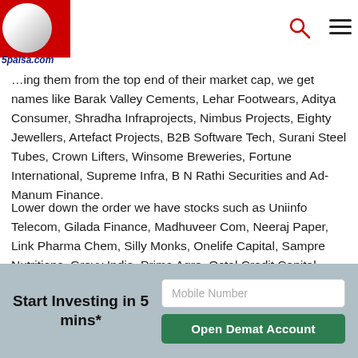5paisa.com
…ing them from the top end of their market cap, we get names like Barak Valley Cements, Lehar Footwears, Aditya Consumer, Shradha Infraprojects, Nimbus Projects, Eighty Jewellers, Artefact Projects, B2B Software Tech, Surani Steel Tubes, Crown Lifters, Winsome Breweries, Fortune International, Supreme Infra, B N Rathi Securities and Ad-Manum Finance.
Lower down the order we have stocks such as Uniinfo Telecom, Gilada Finance, Madhuveer Com, Neeraj Paper, Link Pharma Chem, Silly Monks, Onelife Capital, Sampre Nutritions, Grovy India, Prima Agro, Octal Credit Capital, KJMC Corporate, Pan Electronics, Voltaire Leasing, Cospower Engineering, DMR Hydroengineering.
[Figure (infographic): Social sharing icons row: WhatsApp (green), Email (blue), Facebook (dark blue), LinkedIn (blue), Twitter (light blue)]
Start Investing in 5 mins*
Mobile Number
Open Demat Account